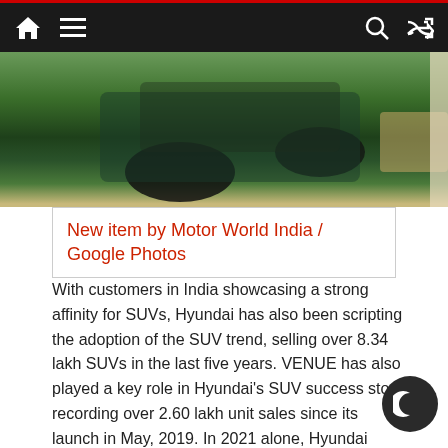Navigation bar with home, menu, search, and shuffle icons
[Figure (photo): Top-down view of a dark-colored SUV on green grass, partially visible]
New item by Motor World India / Google Photos
With customers in India showcasing a strong affinity for SUVs, Hyundai has also been scripting the adoption of the SUV trend, selling over 8.34 lakh SUVs in the last five years. VENUE has also played a key role in Hyundai’s SUV success story, recording over 2.60 lakh unit sales since its launch in May, 2019. In 2021 alone, Hyundai VENUE has recorded a sale of over 1.08 lakh units, demonstrating strong customer love for India’s first connected SUV. The latest entrant to Hyundai’s stellar SUV line-up – Hyundai ALCAZAR has also been well received by customers, recording a sale of over 17,000 units since its launch in June 2021.